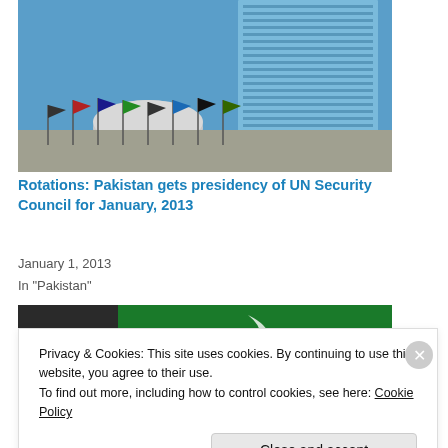[Figure (photo): UN Headquarters building with flags in front, blue sky background. Tall glass skyscraper and dome visible.]
Rotations: Pakistan gets presidency of UN Security Council for January, 2013
January 1, 2013
In "Pakistan"
[Figure (photo): Partial view of Pakistan flag (green with white crescent) with a hand visible.]
Privacy & Cookies: This site uses cookies. By continuing to use this website, you agree to their use.
To find out more, including how to control cookies, see here: Cookie Policy